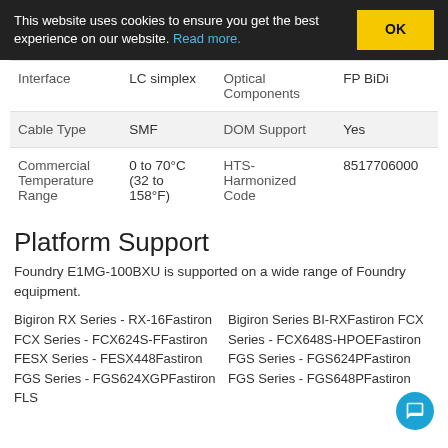This website uses cookies to ensure you get the best experience on our website. Read more. OK
| Interface | LC simplex | Optical Components | FP BiDi |
| Cable Type | SMF | DOM Support | Yes |
| Commercial Temperature Range | 0 to 70°C (32 to 158°F) | HTS-Harmonized Code | 8517706000 |
Platform Support
Foundry E1MG-100BXU is supported on a wide range of Foundry equipment.
Bigiron RX Series - RX-16Fastiron FCX Series - FCX624S-FFastiron FESX Series - FESX448Fastiron FGS Series - FGS624XGPFastiron FLS
Bigiron Series BI-RXFastiron FCX Series - FCX648S-HPOEFastiron FGS Series - FGS624PFastiron FGS Series - FGS648PFastiron